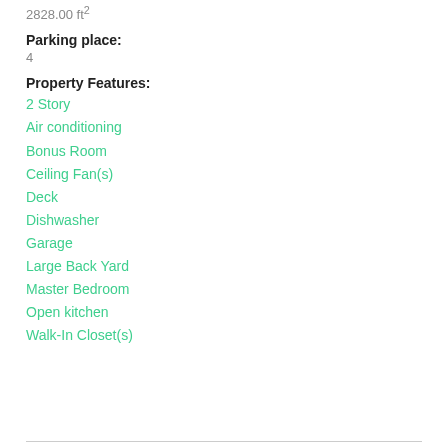2828.00 ft²
Parking place:
4
Property Features:
2 Story
Air conditioning
Bonus Room
Ceiling Fan(s)
Deck
Dishwasher
Garage
Large Back Yard
Master Bedroom
Open kitchen
Walk-In Closet(s)